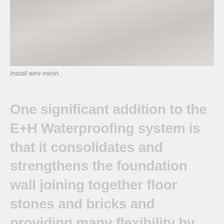[Figure (photo): Photo showing wire mesh installation on a foundation wall, light gray toned image.]
Install wire mesh.
One significant addition to the E+H Waterproofing system is that it consolidates and strengthens the foundation wall joining together floor stones and bricks and providing many flexibility by improving structural improvement.